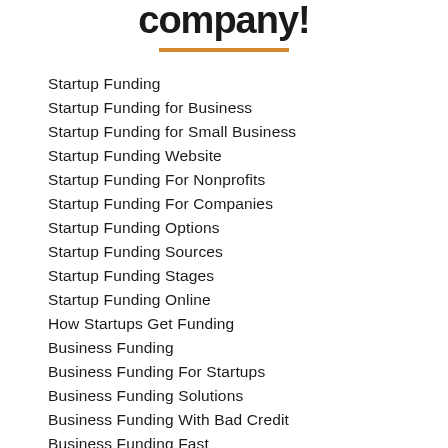company!
Startup Funding
Startup Funding for Business
Startup Funding for Small Business
Startup Funding Website
Startup Funding For Nonprofits
Startup Funding For Companies
Startup Funding Options
Startup Funding Sources
Startup Funding Stages
Startup Funding Online
How Startups Get Funding
Business Funding
Business Funding For Startups
Business Funding Solutions
Business Funding With Bad Credit
Business Funding Fast